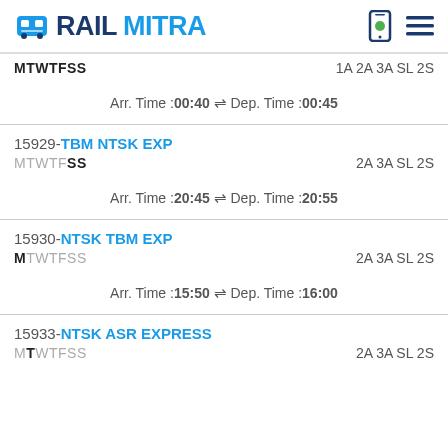RAILMITRA
MTWTFSS   1A 2A 3A SL 2S
Arr. Time :00:40 ⇌ Dep. Time :00:45
15929-TBM NTSK EXP
MTWTFSS   2A 3A SL 2S
Arr. Time :20:45 ⇌ Dep. Time :20:55
15930-NTSK TBM EXP
MTWTFSS   2A 3A SL 2S
Arr. Time :15:50 ⇌ Dep. Time :16:00
15933-NTSK ASR EXPRESS
MTWTFSS   2A 3A SL 2S